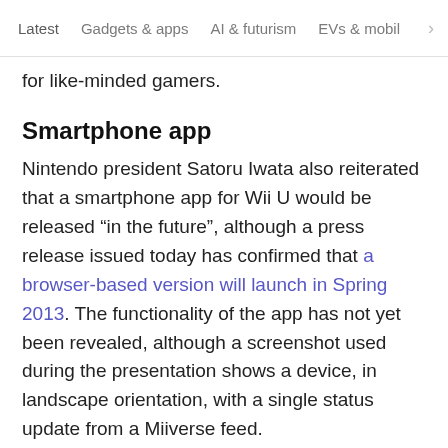Latest   Gadgets & apps   AI & futurism   EVs & mobil
for like-minded gamers.
Smartphone app
Nintendo president Satoru Iwata also reiterated that a smartphone app for Wii U would be released “in the future”, although a press release issued today has confirmed that a browser-based version will launch in Spring 2013. The functionality of the app has not yet been revealed, although a screenshot used during the presentation shows a device, in landscape orientation, with a single status update from a Miiverse feed.
[Figure (logo): Miiverse logo in green with icon]